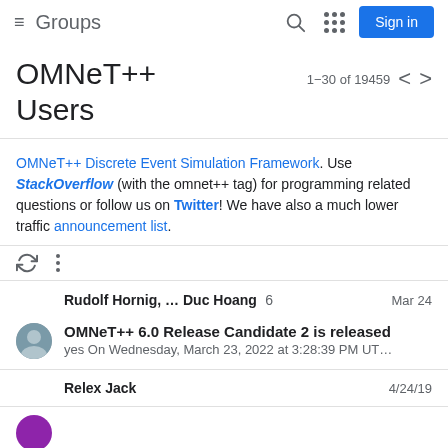Groups
OMNeT++ Users
1–30 of 19459
OMNeT++ Discrete Event Simulation Framework. Use StackOverflow (with the omnet++ tag) for programming related questions or follow us on Twitter! We have also a much lower traffic announcement list.
Rudolf Hornig, … Duc Hoang 6  Mar 24
OMNeT++ 6.0 Release Candidate 2 is released
yes On Wednesday, March 23, 2022 at 3:28:39 PM UT…
Relex Jack  4/24/19